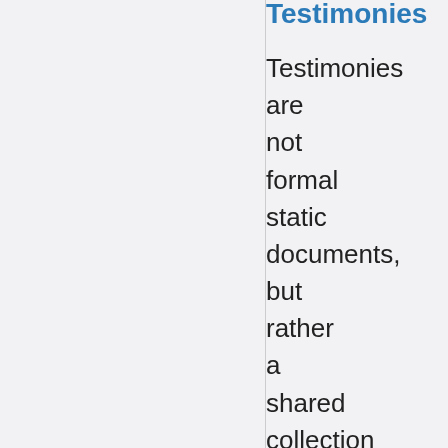Testimonies
Testimonies are not formal static documents, but rather a shared collection or view of